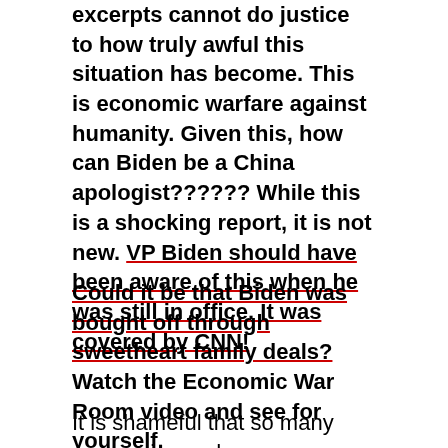excerpts cannot do justice to how truly awful this situation has become. This is economic warfare against humanity. Given this, how can Biden be a China apologist?????? While this is a shocking report, it is not new. VP Biden should have been aware of this when he was still in office. It was covered by CNN!
Could it be that Biden was bought off through sweetheart family deals? Watch the Economic War Room video and see for yourself.
It is shameful that so many companies and